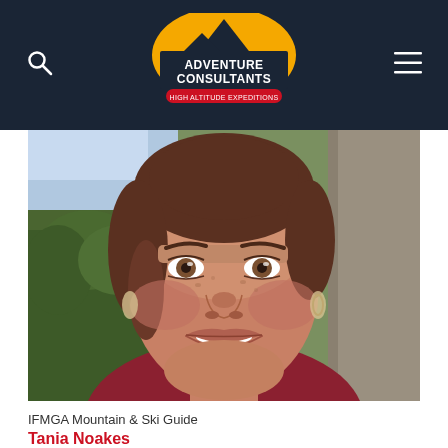Adventure Consultants — High Altitude Expeditions
[Figure (photo): Close-up portrait photo of a smiling woman with brown hair pulled back, slightly flushed cheeks, wearing a dark red sleeveless top. Background shows mountain forest scenery and rock face.]
IFMGA Mountain & Ski Guide
Tania Noakes